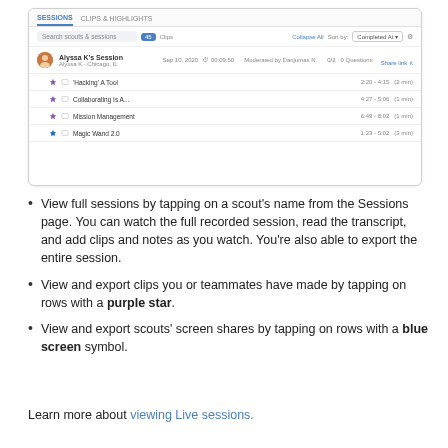[Figure (screenshot): A screenshot of a sessions list UI showing tabs (Sessions, Clips & Highlights), a search bar with a badge count of 45, Collapse All and Sort by controls, a session row for 'Alyssa K's Session' with avatar, date, duration, moderated by info, and clip count, followed by four clip rows: 'Hacking' A Tool, Collaborating Is A..., Mission Management, Magic Wand 2.0.]
View full sessions by tapping on a scout's name from the Sessions page. You can watch the full recorded session, read the transcript, and add clips and notes as you watch. You're also able to export the entire session.
View and export clips you or teammates have made by tapping on rows with a purple star.
View and export scouts' screen shares by tapping on rows with a blue screen symbol.
Learn more about viewing Live sessions.